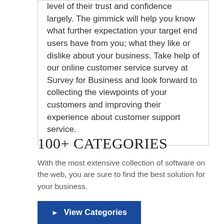level of their trust and confidence largely. The gimmick will help you know what further expectation your target end users have from you; what they like or dislike about your business. Take help of our online customer service survey at Survey for Business and look forward to collecting the viewpoints of your customers and improving their experience about customer support service.
100+ CATEGORIES
With the most extensive collection of software on the web, you are sure to find the best solution for your business.
▶ View Categories